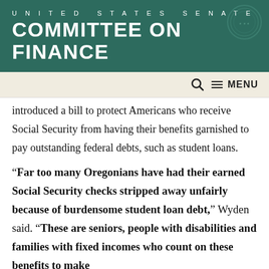UNITED STATES SENATE COMMITTEE ON FINANCE
introduced a bill to protect Americans who receive Social Security from having their benefits garnished to pay outstanding federal debts, such as student loans.
“Far too many Oregonians have had their earned Social Security checks stripped away unfairly because of burdensome student loan debt,” Wyden said. “These are seniors, people with disabilities and families with fixed incomes who count on these benefits to make